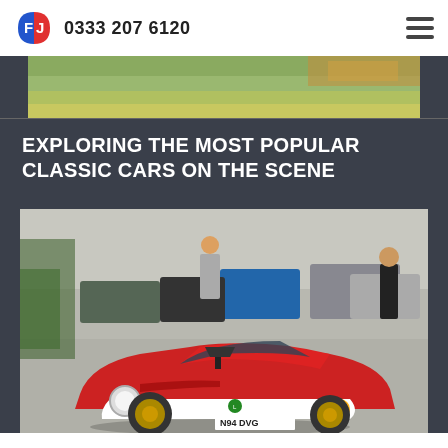0333 207 6120
[Figure (photo): Partial top image strip showing a blurred outdoor/grass background scene]
EXPLORING THE MOST POPULAR CLASSIC CARS ON THE SCENE
[Figure (photo): Red Lotus Elise sports car (plate N94 DVG) at a car show, surrounded by other vehicles and people in the background]